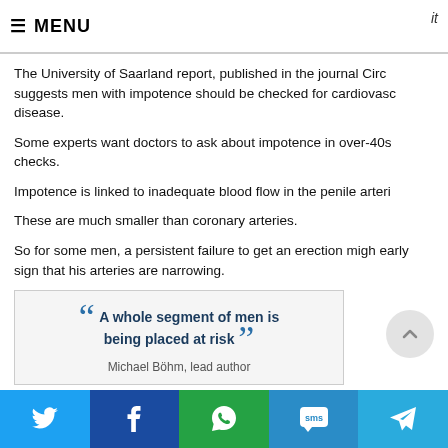≡ MENU   it
The University of Saarland report, published in the journal Circ suggests men with impotence should be checked for cardiovascular disease.
Some experts want doctors to ask about impotence in over-40s checks.
Impotence is linked to inadequate blood flow in the penile arteries.
These are much smaller than coronary arteries.
So for some men, a persistent failure to get an erection might be an early sign that his arteries are narrowing.
“A whole segment of men is being placed at risk” — Michael Böhm, lead author
The study followed men from 13 countries who already had cardiovascular disease. It monitored whether they went on to have heart attacks or strokes.